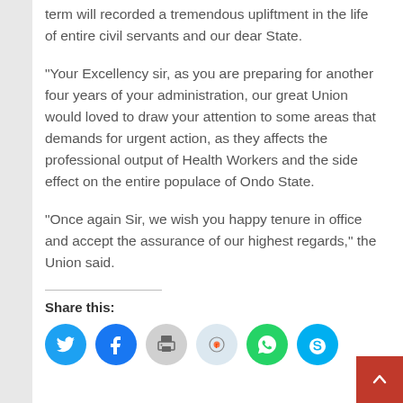term will recorded a tremendous upliftment in the life of entire civil servants and our dear State.
“Your Excellency sir, as you are preparing for another four years of your administration, our great Union would loved to draw your attention to some areas that demands for urgent action, as they affects the professional output of Health Workers and the side effect on the entire populace of Ondo State.
“Once again Sir, we wish you happy tenure in office and accept the assurance of our highest regards,” the Union said.
Share this: